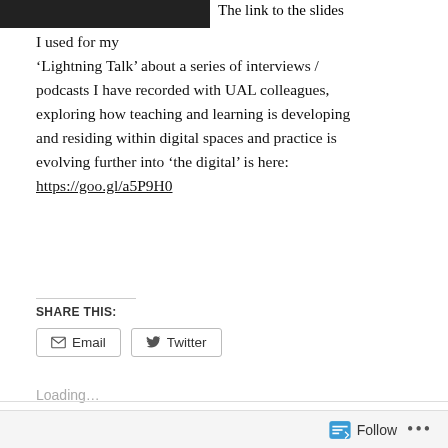[Figure (photo): Partial view of a dark/black image in the top-left corner, cropped]
The link to the slides I used for my 'Lightning Talk' about a series of interviews / podcasts I have recorded with UAL colleagues, exploring how teaching and learning is developing and residing within digital spaces and practice is evolving further into 'the digital' is here: https://goo.gl/a5P9H0
SHARE THIS:
Email   Twitter
Loading...
April 8, 2017   Conferences, Digital Identity, Digital Literacy,
Follow